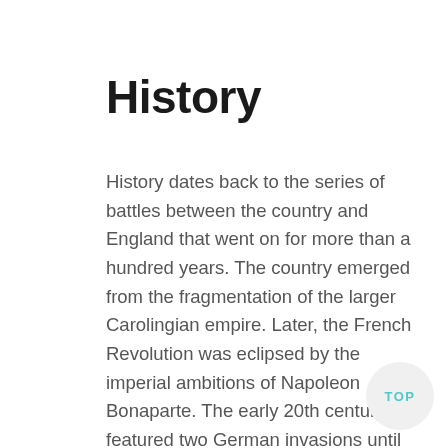History
History dates back to the series of battles between the country and England that went on for more than a hundred years. The country emerged from the fragmentation of the larger Carolingian empire. Later, the French Revolution was eclipsed by the imperial ambitions of Napoleon Bonaparte. The early 20th century featured two German invasions until the return to a democratic republic after liberation. Currently, France is in